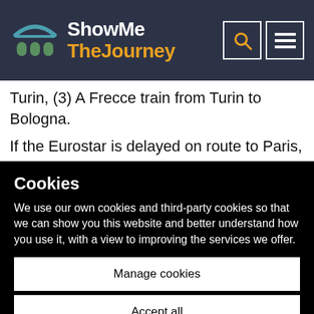ShowMe TheJourney
Turin, (3) A Frecce train from Turin to Bologna.
If the Eurostar is delayed on route to Paris, it's not absolutely guaranteed that Trenitalia will
Cookies
We use our own cookies and third-party cookies so that we can show you this website and better understand how you use it, with a view to improving the services we offer.
Manage cookies
Accept all